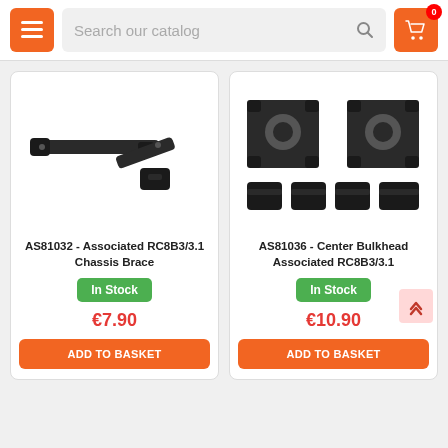Search our catalog
[Figure (photo): RC car chassis brace parts - AS81032 Associated RC8B3/3.1 Chassis Brace, black plastic components]
AS81032 - Associated RC8B3/3.1 Chassis Brace
In Stock
€7.90
ADD TO BASKET
[Figure (photo): RC car center bulkhead parts - AS81036 Center Bulkhead Associated RC8B3/3.1, black plastic components]
AS81036 - Center Bulkhead Associated RC8B3/3.1
In Stock
€10.90
ADD TO BASKET